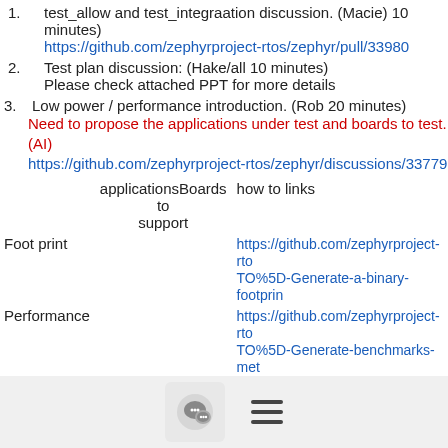1.   test_allow and test_integraation discussion. (Macie) 10 minutes)
https://github.com/zephyrproject-rtos/zephyr/pull/33980
2.   Test plan discussion: (Hake/all 10 minutes)
Please check attached PPT for more details
3.   Low power / performance introduction. (Rob 20 minutes)
Need to propose the applications under test and boards to test.(AI)
https://github.com/zephyrproject-rtos/zephyr/discussions/33779
| applications | Boards to support | how to links |
| --- | --- | --- |
| Foot print |  | https://github.com/zephyrproject-rtos/zephyr/issues/… TO%5D-Generate-a-binary-footprint… |
| Performance |  | https://github.com/zephyrproject-rtos/zephyr/issues/… TO%5D-Generate-benchmarks-met… |
| Low power |  |  |
4.   Round table. (10 minutes)